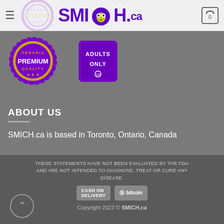[Figure (logo): SMICH.ca website header with hamburger menu icon, SMICH.ca logo in purple with owl icon, and shopping cart icon showing 0 items]
[Figure (illustration): Two badge/seal graphics: a circular purple and gold premium organic quality seal on the left, and a purple square 'Adults Only' label on the right]
ABOUT US
SMICH.ca is based in Toronto, Ontario, Canada
THESE STATEMENTS HAVE NOT BEEN EVALUATED BY THE FDA AND ARE NOT INTENDED TO DIAGNOSE, TREAT OR CURE ANY DISEASE.
[Figure (logo): Payment method badges: 'Cash on Delivery' and 'bitcoin' logos]
Copyright 2022 © SMICH.ca